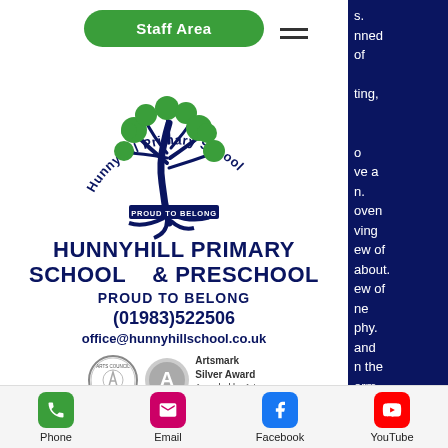[Figure (screenshot): Green rounded button labeled 'Staff Area']
[Figure (logo): Hunnyhill Primary School tree logo with green foliage and dark blue trunk, text arcing over top reading 'Hunnyhill Primary School' and banner at bottom reading 'PROUD TO BELONG']
HUNNYHILL PRIMARY SCHOOL & PRESCHOOL
PROUD TO BELONG
(01983)522506
office@hunnyhillschool.co.uk
[Figure (logo): Arts Council England circular logo alongside Artsmark Silver Award badge with text 'Artsmark Silver Award Awarded by Arts Council England']
[Figure (logo): Bronze Award badge (tomato/peach icon, left), BRONZE sunburst badge (center), SCHOOL circular badge (right)]
Phone | Email | Facebook | YouTube